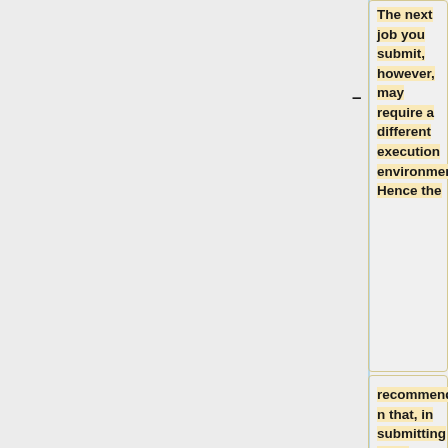The next job you submit, however, may require a different execution environment. Hence the
recommendation that, in submitting jobs, specify the creation of a new login shell and within the job explicitly customize the environment as needed.
A new login shell per job is initialized by